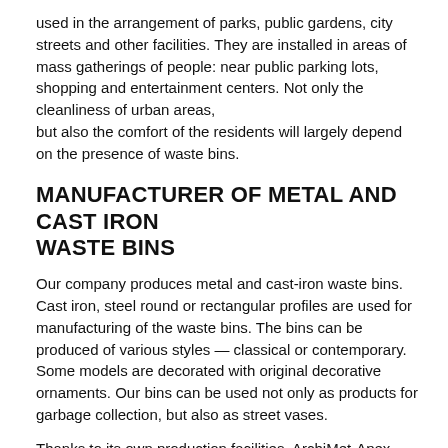used in the arrangement of parks, public gardens, city streets and other facilities. They are installed in areas of mass gatherings of people: near public parking lots, shopping and entertainment centers. Not only the cleanliness of urban areas, but also the comfort of the residents will largely depend on the presence of waste bins.
MANUFACTURER OF METAL AND CAST IRON WASTE BINS
Our company produces metal and cast-iron waste bins. Cast iron, steel round or rectangular profiles are used for manufacturing of the waste bins. The bins can be produced of various styles — classical or contemporary. Some models are decorated with original decorative ornaments. Our bins can be used not only as products for garbage collection, but also as street vases.
Thanks to its own production facilities, ArchiMet-Apex LLC is engaged in the manufacturing of waste bins on a large scale. Thanks to this you can order a single unit and place an order for delivery of large quantities. We offer bins that are different in:
shape and design;
color;